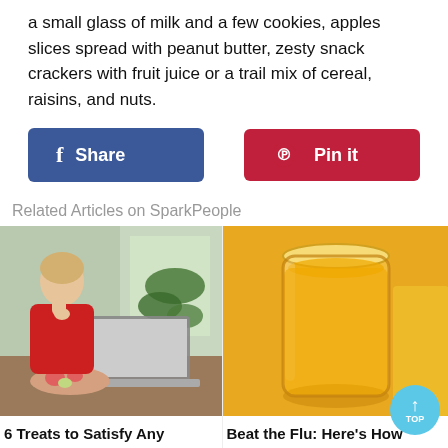a small glass of milk and a few cookies, apples slices spread with peanut butter, zesty snack crackers with fruit juice or a trail mix of cereal, raisins, and nuts.
[Figure (other): Facebook Share button (blue rounded rectangle with 'f' icon and 'Share' text)]
[Figure (other): Pinterest Pin it button (red rounded rectangle with Pinterest logo and 'Pin it' text)]
Related Articles on SparkPeople
[Figure (photo): Woman in red shirt eating while working on laptop, with plate of fruit]
6 Treats to Satisfy Any Pregnancy Craving
[Figure (photo): Glass of orange juice on yellow background]
Beat the Flu: Here's How